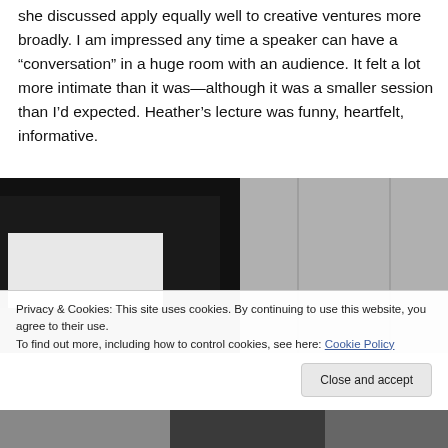she discussed apply equally well to creative ventures more broadly. I am impressed any time a speaker can have a “conversation” in a huge room with an audience. It felt a lot more intimate than it was—although it was a smaller session than I’d expected. Heather’s lecture was funny, heartfelt, informative.
[Figure (photo): A photo showing the corner of a black-framed projection screen or display against a grey tiled wall background.]
Privacy & Cookies: This site uses cookies. By continuing to use this website, you agree to their use.
To find out more, including how to control cookies, see here: Cookie Policy
[Figure (photo): Bottom strip showing partial view of audience or people at a conference.]